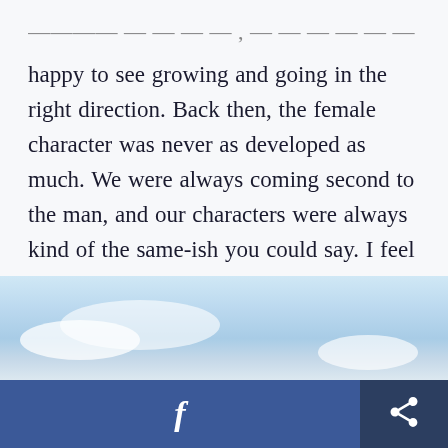...position of power, which obviously, people are...
happy to see growing and going in the right direction. Back then, the female character was never as developed as much. We were always coming second to the man, and our characters were always kind of the same-ish you could say. I feel like nowadays they're creating really independent, strong, funny women, and I'm all about it.
[Figure (photo): Sky with light blue tones and white clouds visible at the bottom of the page]
Facebook share button and general share/export button